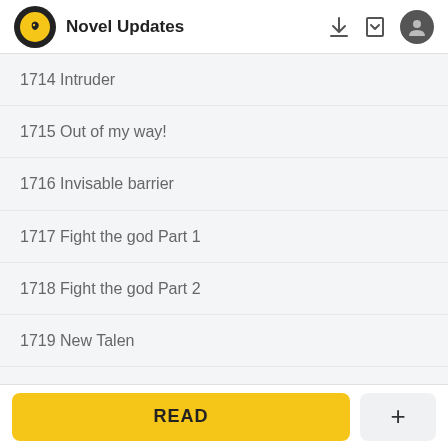Novel Updates
1714 Intruder
1715 Out of my way!
1716 Invisable barrier
1717 Fight the god Part 1
1718 Fight the god Part 2
1719 New Talen
1720 The Arma
READ  +